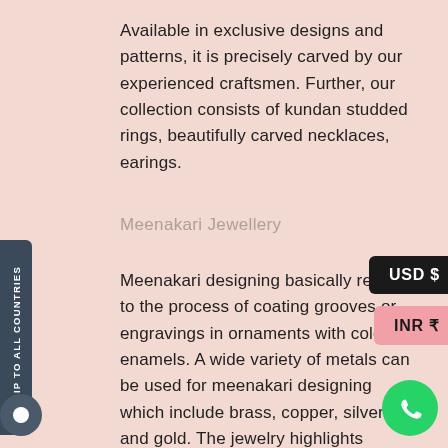Available in exclusive designs and patterns, it is precisely carved by our experienced craftsmen. Further, our collection consists of kundan studded rings, beautifully carved necklaces, earings.
Meenakari Jewellery
Meenakari designing basically refers to the process of coating grooves or engravings in ornaments with colored enamels. A wide variety of metals can be used for meenakari designing which include brass, copper, silver and gold. The jewelry highlights depressions similar to a popular design or animal figurines or images of gods and goddess. The idea behind this is to give the appearance of a